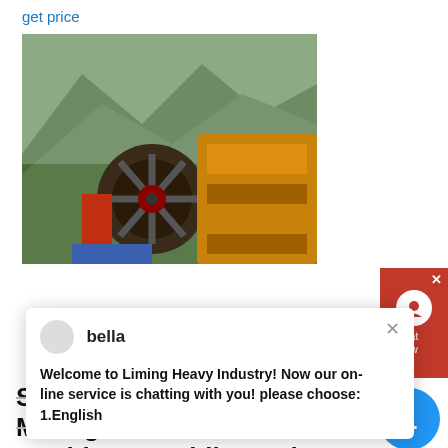get price
[Figure (photo): Photo of a stone crushing machine with a large flywheel/pulley visible, yellow frame components, set against a mountainous green background]
bella
Welcome to Liming Heavy Industry! Now our on-line service is chatting with you! please choose: 1.English
Stone crush plant process Mining Machinery Mobile Rock
16/08/2021 2.2 Typical Set-up & Sizes of Stone Crushers There are large variations in the types of stone crusher setup across the country depending on geographical locations, type of demand for crushed products, closeness to urban areas, type of raw material, availability of plant and machinery locally etc.